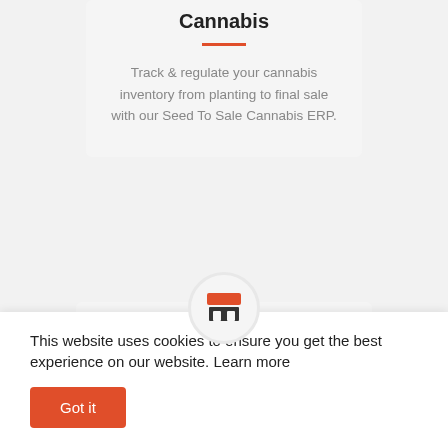Cannabis
Track & regulate your cannabis inventory from planting to final sale with our Seed To Sale Cannabis ERP.
[Figure (illustration): Store/shop icon in orange and dark gray, inside a white circle with light gray border]
Omnichannel Retail
Synchronize & automate your omnichannel retail
This website uses cookies to ensure you get the best experience on our website. Learn more